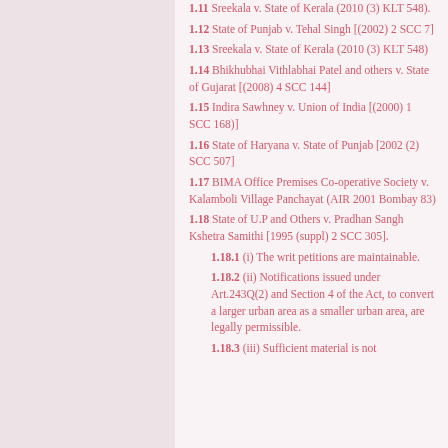1.11 Sreekala v. State of Kerala (2010 (3) KLT 548).
1.12 State of Punjab v. Tehal Singh [(2002) 2 SCC 7]
1.13 Sreekala v. State of Kerala (2010 (3) KLT 548)
1.14 Bhikhubhai Vithlabhai Patel and others v. State of Gujarat [(2008) 4 SCC 144]
1.15 Indira Sawhney v. Union of India [(2000) 1 SCC 168)]
1.16 State of Haryana v. State of Punjab [2002 (2) SCC 507]
1.17 BIMA Office Premises Co-operative Society v. Kalamboli Village Panchayat (AIR 2001 Bombay 83)
1.18 State of U.P and Others v. Pradhan Sangh Kshetra Samithi [1995 (suppl) 2 SCC 305].
1.18.1 (i) The writ petitions are maintainable.
1.18.2 (ii) Notifications issued under Art.243Q(2) and Section 4 of the Act, to convert a larger urban area as a smaller urban area, are legally permissible.
1.18.3 (iii) Sufficient material is not